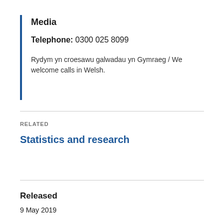Media
Telephone: 0300 025 8099
Rydym yn croesawu galwadau yn Gymraeg / We welcome calls in Welsh.
RELATED
Statistics and research
Released
9 May 2019